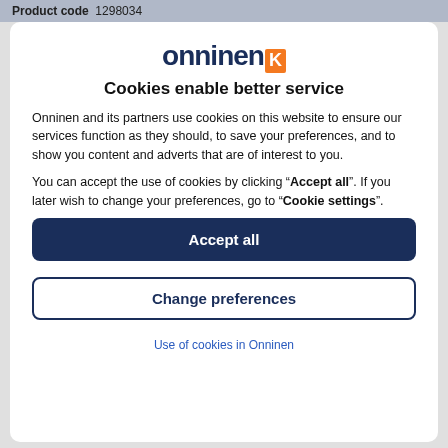Product code  1298034
[Figure (logo): Onninen logo with dark blue text and orange K emblem]
Cookies enable better service
Onninen and its partners use cookies on this website to ensure our services function as they should, to save your preferences, and to show you content and adverts that are of interest to you.
You can accept the use of cookies by clicking “Accept all”. If you later wish to change your preferences, go to “Cookie settings”.
Accept all
Change preferences
Use of cookies in Onninen